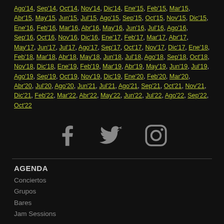Ago'14, Sep'14, Oct'14, Nov'14, Dic'14, Ene'15, Feb'15, Mar'15, Abr'15, May'15, Jun'15, Jul'15, Ago'15, Sep'15, Oct'15, Nov'15, Dic'15, Ene'16, Feb'16, Mar'16, Abr'16, May'16, Jun'16, Jul'16, Ago'16, Sep'16, Oct'16, Nov'16, Dic'16, Ene'17, Feb'17, Mar'17, Abr'17, May'17, Jun'17, Jul'17, Ago'17, Sep'17, Oct'17, Nov'17, Dic'17, Ene'18, Feb'18, Mar'18, Abr'18, May'18, Jun'18, Jul'18, Ago'18, Sep'18, Oct'18, Nov'18, Dic'18, Ene'19, Feb'19, Mar'19, Abr'19, May'19, Jun'19, Jul'19, Ago'19, Sep'19, Oct'19, Nov'19, Dic'19, Ene'20, Feb'20, Mar'20, Abr'20, Jul'20, Ago'20, Jun'21, Jul'21, Ago'21, Sep'21, Oct'21, Nov'21, Dic'21, Feb'22, Mar'22, Abr'22, May'22, Jun'22, Jul'22, Ago'22, Sep'22, Oct'22
[Figure (illustration): Three social media icons: Facebook, Twitter, Instagram in gray]
AGENDA
Conciertos
Grupos
Bares
Jam Sessions